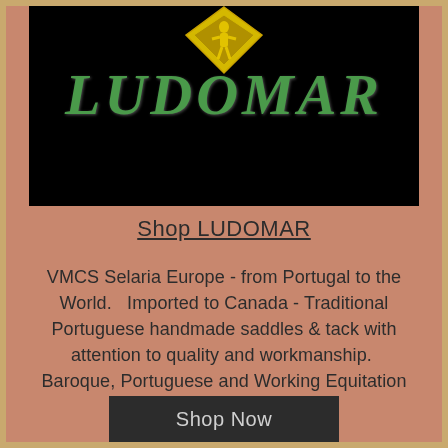[Figure (logo): LUDOMAR brand logo on black background — diamond/shield shape at top with yellow figure, green italic serif LUDOMAR text below]
Shop LUDOMAR
VMCS Selaria Europe - from Portugal to the World.   Imported to Canada - Traditional Portuguese handmade saddles & tack with attention to quality and workmanship.  Baroque, Portuguese and Working Equitation Saddles & Tack.
Shop Now